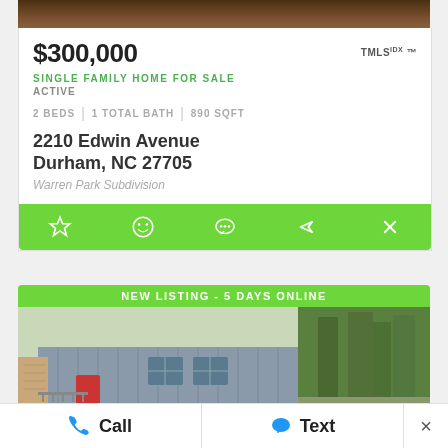[Figure (photo): Top portion of hardwood floor interior photo, cropped]
$300,000
SINGLE FAMILY HOME FOR SALE
ACTIVE
2 BEDS | 1 TOTAL BATH | 890 SQFT
2210 Edwin Avenue
Durham, NC 27705
Warren Park Subdivision
[Figure (infographic): Green action bar with star, smiley face, chat bubble, share arrow, and X icons]
[Figure (photo): Second listing card with NEW LISTING - 5 DAYS ONLINE banner and house exterior photo showing grey modern home with red door and trees]
Call
Text